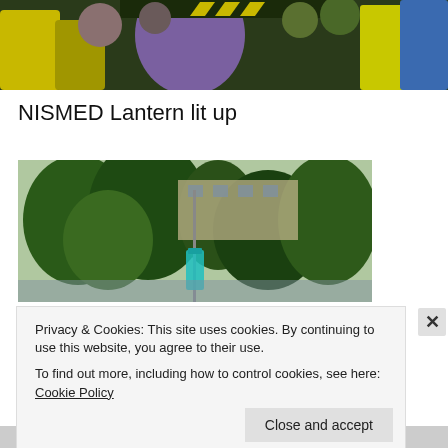[Figure (photo): Top portion of a photo showing people in yellow high-visibility vests and a purple/blue hooded figure in a crowd]
NISMED Lantern lit up
[Figure (photo): Outdoor scene with trees and a building in the background, with a green/teal lantern or light visible]
Privacy & Cookies: This site uses cookies. By continuing to use this website, you agree to their use.
To find out more, including how to control cookies, see here: Cookie Policy
Close and accept